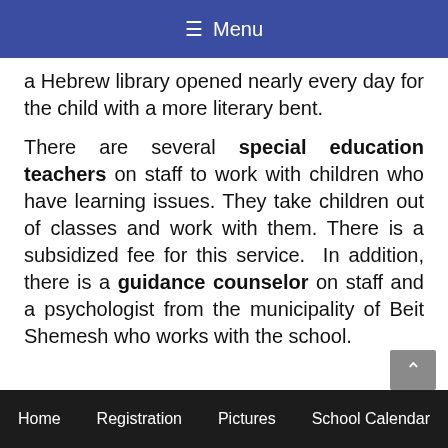≡ Menu
a Hebrew library opened nearly every day for the child with a more literary bent.
There are several special education teachers on staff to work with children who have learning issues. They take children out of classes and work with them. There is a subsidized fee for this service.  In addition, there is a guidance counselor on staff and a psychologist from the municipality of Beit Shemesh who works with the school.
Home    Registration    Pictures    School Calendar